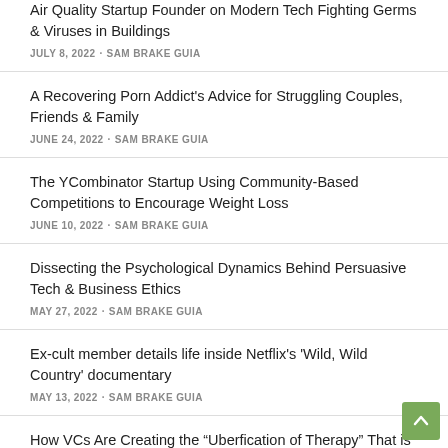Air Quality Startup Founder on Modern Tech Fighting Germs & Viruses in Buildings
JULY 8, 2022 · Sam Brake Guia
A Recovering Porn Addict's Advice for Struggling Couples, Friends & Family
JUNE 24, 2022 · Sam Brake Guia
The YCombinator Startup Using Community-Based Competitions to Encourage Weight Loss
JUNE 10, 2022 · Sam Brake Guia
Dissecting the Psychological Dynamics Behind Persuasive Tech & Business Ethics
MAY 27, 2022 · Sam Brake Guia
Ex-cult member details life inside Netflix's 'Wild, Wild Country' documentary
MAY 13, 2022 · Sam Brake Guia
How VCs Are Creating the “Uberfication of Therapy” That is Purely Profit Focused